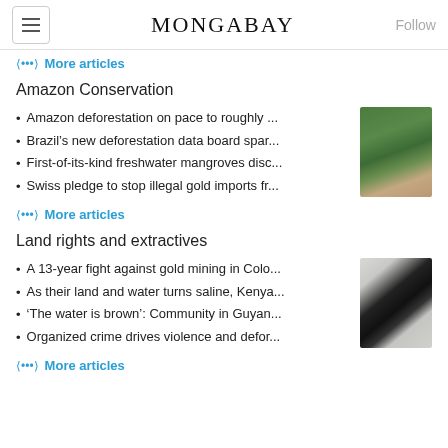MONGABAY
More articles
Amazon Conservation
Amazon deforestation on pace to roughly ...
Brazil's new deforestation data board spar...
First-of-its-kind freshwater mangroves disc...
Swiss pledge to stop illegal gold imports fr...
More articles
Land rights and extractives
A 13-year fight against gold mining in Colo...
As their land and water turns saline, Kenya...
'The water is brown': Community in Guyan...
Organized crime drives violence and defor...
More articles